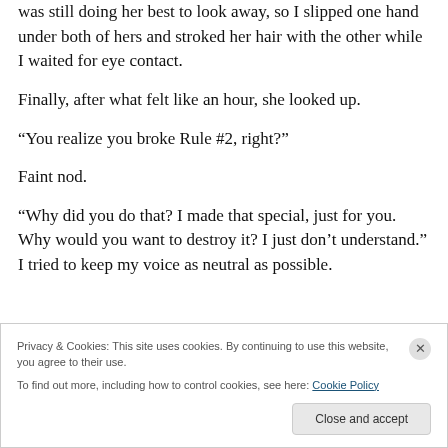was still doing her best to look away, so I slipped one hand under both of hers and stroked her hair with the other while I waited for eye contact.
Finally, after what felt like an hour, she looked up.
“You realize you broke Rule #2, right?”
Faint nod.
“Why did you do that? I made that special, just for you. Why would you want to destroy it? I just don’t understand.” I tried to keep my voice as neutral as possible.
Privacy & Cookies: This site uses cookies. By continuing to use this website, you agree to their use. To find out more, including how to control cookies, see here: Cookie Policy